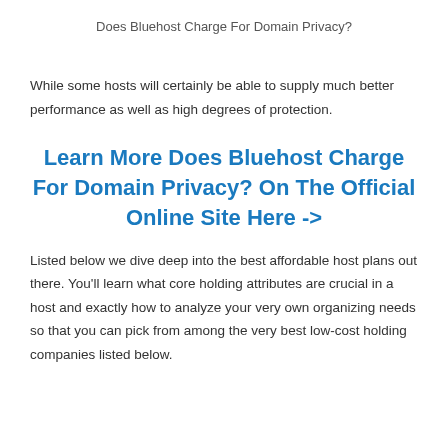Does Bluehost Charge For Domain Privacy?
While some hosts will certainly be able to supply much better performance as well as high degrees of protection.
Learn More Does Bluehost Charge For Domain Privacy? On The Official Online Site Here ->
Listed below we dive deep into the best affordable host plans out there. You'll learn what core holding attributes are crucial in a host and exactly how to analyze your very own organizing needs so that you can pick from among the very best low-cost holding companies listed below.